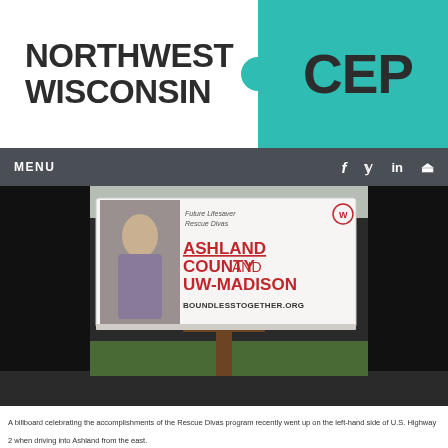[Figure (logo): Northwest Wisconsin CEP logo with white left panel showing bold black text 'NORTHWEST WISCONSIN' and teal right panel with bold dark text 'CEP', set against dark gray background header]
MENU  f  y  in  🔍
[Figure (photo): A billboard along U.S. Highway 2 celebrating the Rescue Divas program. Billboard reads: 'Future Lifesaver Rescue Divas' / 'ASHLAND COUNTY AND UW-MADISON' / 'BOUNDLESSTOGETHER.ORG'. A young woman is featured on the left side of the billboard. Billboard is on a pole surrounded by trees.]
A billboard celebrating the accomplishments of the Rescue Divas program recently went up on the left-hand side of U.S. Highway 2 when driving into Ashland from the east.
Sara M. Chase/Staff Photo